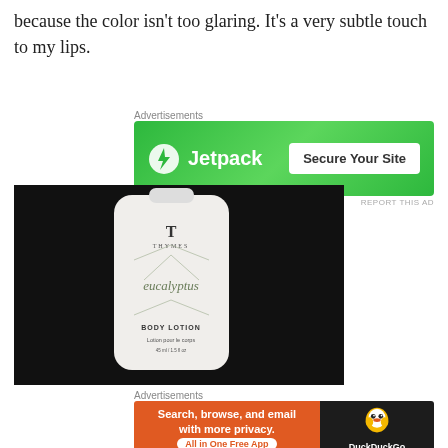because the color isn’t too glaring. It’s a very subtle touch to my lips.
[Figure (infographic): Jetpack advertisement banner with green gradient background. Left side shows Jetpack logo (lightning bolt icon) and 'Jetpack' text. Right side shows white button with 'Secure Your Site' text.]
[Figure (photo): Photo of a Thymes Eucalyptus Body Lotion bottle on a dark background. White bottle with eucalyptus plant illustration and text: THYMES, eucalyptus, BODY LOTION, Lotion pour le corps, 45 ml / 1.5 fl oz.]
[Figure (infographic): DuckDuckGo advertisement banner. Left orange section reads 'Search, browse, and email with more privacy.' with 'All in One Free App' button. Right dark section shows DuckDuckGo duck logo and brand name.]